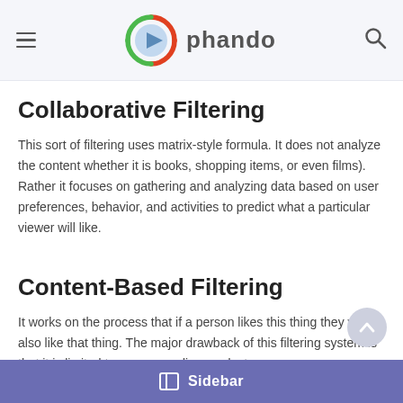phando
Collaborative Filtering
This sort of filtering uses matrix-style formula. It does not analyze the content whether it is books, shopping items, or even films). Rather it focuses on gathering and analyzing data based on user preferences, behavior, and activities to predict what a particular viewer will like.
Content-Based Filtering
It works on the process that if a person likes this thing they will also like that thing. The major drawback of this filtering system is that it is limited to recommending products or
Sidebar